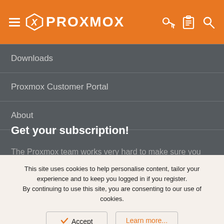Proxmox - header navigation bar with logo, hamburger menu, key icon, clipboard icon, search icon
Downloads
Proxmox Customer Portal
About
Get your subscription!
The Proxmox team works very hard to make sure you are running the best software and getting stable updates and
This site uses cookies to help personalise content, tailor your experience and to keep you logged in if you register. By continuing to use this site, you are consenting to our use of cookies.
Accept
Learn more...